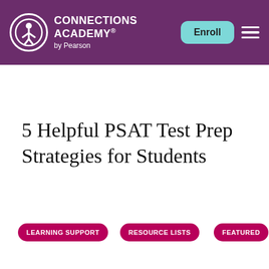CONNECTIONS ACADEMY® by Pearson
[Figure (photo): Partial photo of a student, showing teal/turquoise clothing and hands, cropped at top of page below header]
5 Helpful PSAT Test Prep Strategies for Students
LEARNING SUPPORT
RESOURCE LISTS
FEATURED
Request More Info